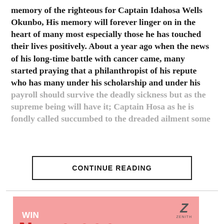memory of the righteous for Captain Idahosa Wells Okunbo, His memory will forever linger on in the heart of many most especially those he has touched their lives positively. About a year ago when the news of his long-time battle with cancer came, many started praying that a philanthropist of his repute who has many under his scholarship and under his payroll should survive the deadly sickness but as the supreme being will have it; Captain Hosa as he is fondly called succumbed to the dreaded ailment some
CONTINUE READING
[Figure (other): Zenith Bank advertisement with pink/salmon background. Shows Zenith logo (stylized Z) in top right. Text reads WIN in white, ₦150,000 in bold dark red, and 'in' in white at the bottom.]